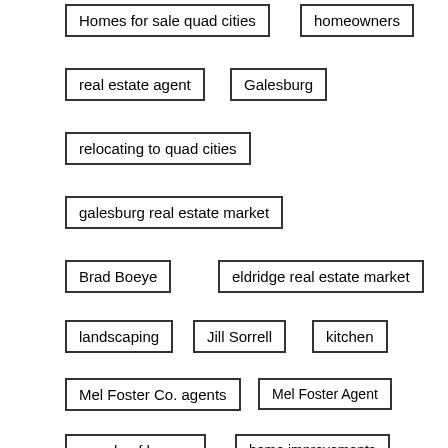Homes for sale quad cities
homeowners
real estate agent
Galesburg
relocating to quad cities
galesburg real estate market
Brad Boeye
eldridge real estate market
landscaping
Jill Sorrell
kitchen
Mel Foster Co. agents
Mel Foster Agent
parade of homes
home improvements
real estate company
MooveGuru